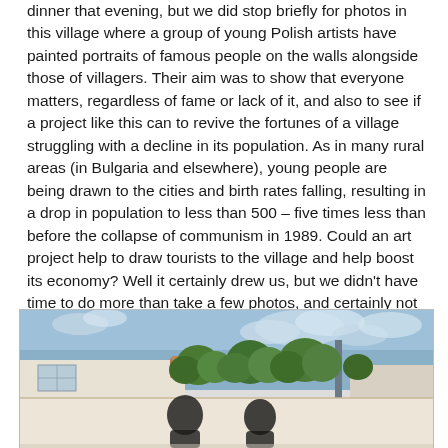dinner that evening, but we did stop briefly for photos in this village where a group of young Polish artists have painted portraits of famous people on the walls alongside those of villagers. Their aim was to show that everyone matters, regardless of fame or lack of it, and also to see if a project like this can to revive the fortunes of a village struggling with a decline in its population. As in many rural areas (in Bulgaria and elsewhere), young people are being drawn to the cities and birth rates falling, resulting in a drop in population to less than 500 – five times less than before the collapse of communism in 1989. Could an art project help to draw tourists to the village and help boost its economy? Well it certainly drew us, but we didn't have time to do more than take a few photos, and certainly not to stay long enough to spend any money. Maybe others will spend the time here that many of us would have liked to have done had we been able to.
[Figure (photo): Photo of a Bulgarian village showing white-walled buildings with terracotta roofs, green trees, a cloudy sky, and wall murals/portraits of people painted on the lower walls.]